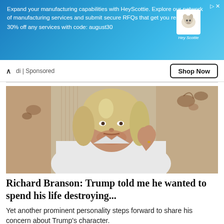[Figure (screenshot): Advertisement banner for HeyScottie manufacturing services with blue background and dog logo]
Expand your manufacturing capabilities with HeyScottie. Explore our network of manufacturing services and submit secure RFQs that get you results.
30% off any services with code: august30
di | Sponsored
Shop Now
[Figure (photo): Photo of Richard Branson, a man with long blond-grey hair and beard, wearing a white shirt, with hand raised to chin in a thoughtful pose]
Richard Branson: Trump told me he wanted to spend his life destroying...
Yet another prominent personality steps forward to share his concern about Trump's character.